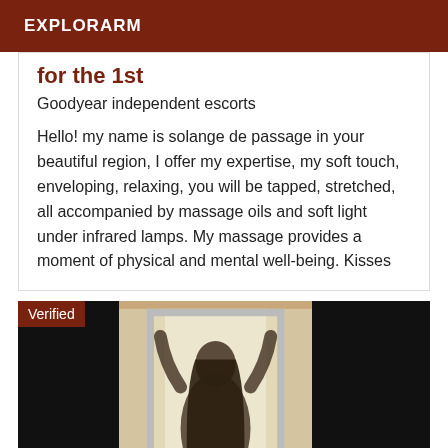EXPLORARM
for the 1st
Goodyear independent escorts
Hello! my name is solange de passage in your beautiful region, I offer my expertise, my soft touch, enveloping, relaxing, you will be tapped, stretched, all accompanied by massage oils and soft light under infrared lamps. My massage provides a moment of physical and mental well-being. Kisses
[Figure (photo): A person with long dark hair photographed from behind, arms raised, standing in front of a bright window or door frame, wearing a yellow outfit. Black panels on left and right. 'Verified' badge in top-left corner.]